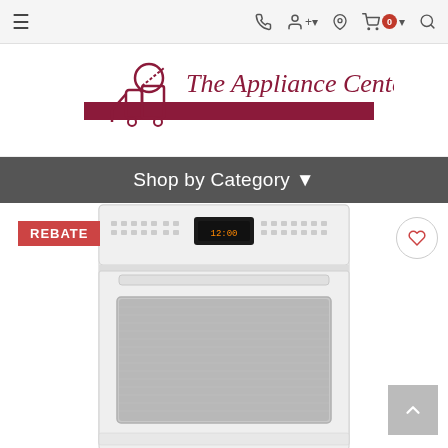Navigation bar with hamburger menu, phone, account, location, cart (0), and search icons
[Figure (logo): The Appliance Center logo with a stylized appliance delivery figure and dark red horizontal bar]
Shop by Category ▾
REBATE
[Figure (photo): White wall oven with black digital display panel on top and large oven window in center]